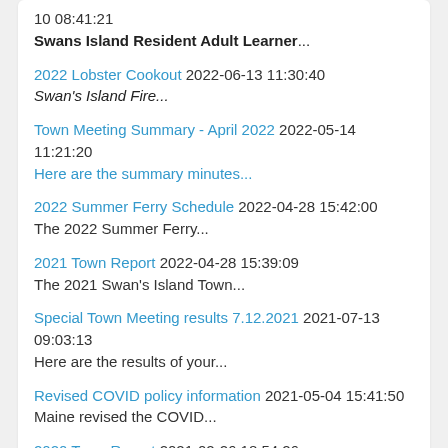10 08:41:21
Swans Island Resident Adult Learner...
2022 Lobster Cookout 2022-06-13 11:30:40
Swan's Island Fire...
Town Meeting Summary - April 2022 2022-05-14 11:21:20
Here are the summary minutes...
2022 Summer Ferry Schedule 2022-04-28 15:42:00
The 2022 Summer Ferry...
2021 Town Report 2022-04-28 15:39:09
The 2021 Swan's Island Town...
Special Town Meeting results 7.12.2021 2021-07-13 09:03:13
Here are the results of your...
Revised COVID policy information 2021-05-04 15:41:50
Maine revised the COVID...
2020 Town Report 2021-02-26 18:54:26
The 2020 Swan's Island Town...
2021 Town Report